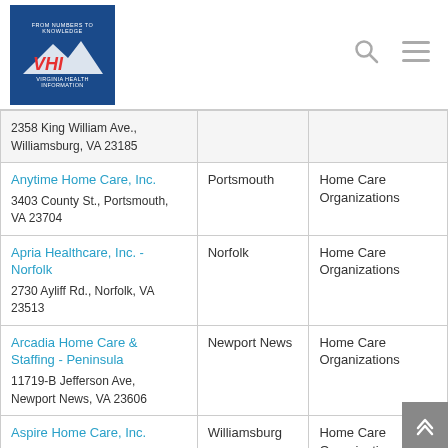VHI - Virginia Health Information
| Organization | City | Type |
| --- | --- | --- |
| 2358 King William Ave., Williamsburg, VA 23185 |  |  |
| Anytime Home Care, Inc.
3403 County St., Portsmouth, VA 23704 | Portsmouth | Home Care Organizations |
| Apria Healthcare, Inc. - Norfolk
2730 Ayliff Rd., Norfolk, VA 23513 | Norfolk | Home Care Organizations |
| Arcadia Home Care & Staffing - Peninsula
11719-B Jefferson Ave, Newport News, VA 23606 | Newport News | Home Care Organizations |
| Aspire Home Care, Inc.
376 McLaws Cir., Williamsburg, VA 23185 | Williamsburg | Home Care Organizations |
| At Home Care (Sub-unit)
266 McLaws Cir, Ste 2b | Williamsburg | Home Care & Community |